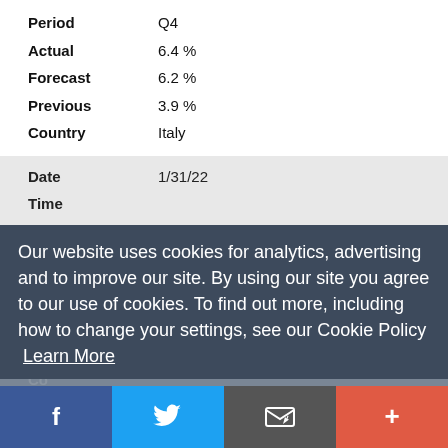| Field | Value |
| --- | --- |
| Period | Q4 |
| Actual | 6.4 % |
| Forecast | 6.2 % |
| Previous | 3.9 % |
| Country | Italy |
| Field | Value |
| --- | --- |
| Date | 1/31/22 |
| Time |  |
Indicator: GDP (Q-o-Q)
Our website uses cookies for analytics, advertising and to improve our site. By using our site you agree to our use of cookies. To find out more, including how to change your settings, see our Cookie Policy  Learn More
[Figure (infographic): OK button (cookie consent) in yellow/gold color]
| Field | Value |
| --- | --- |
| Date | 1/31/22 |
| Time |  |
[Figure (infographic): Social share bar with Facebook, Twitter, Email, and Plus buttons]